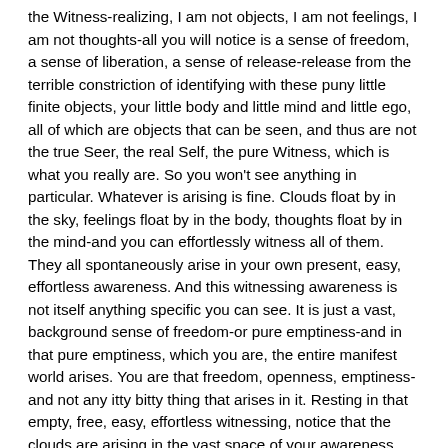the Witness-realizing, I am not objects, I am not feelings, I am not thoughts-all you will notice is a sense of freedom, a sense of liberation, a sense of release-release from the terrible constriction of identifying with these puny little finite objects, your little body and little mind and little ego, all of which are objects that can be seen, and thus are not the true Seer, the real Self, the pure Witness, which is what you really are. So you won't see anything in particular. Whatever is arising is fine. Clouds float by in the sky, feelings float by in the body, thoughts float by in the mind-and you can effortlessly witness all of them. They all spontaneously arise in your own present, easy, effortless awareness. And this witnessing awareness is not itself anything specific you can see. It is just a vast, background sense of freedom-or pure emptiness-and in that pure emptiness, which you are, the entire manifest world arises. You are that freedom, openness, emptiness-and not any itty bitty thing that arises in it. Resting in that empty, free, easy, effortless witnessing, notice that the clouds are arising in the vast space of your awareness. The clouds are arising within you-so much so, you can taste the clouds, you are one with the clouds. It is as if they are on this side of your skin, they are so close. The sky and your